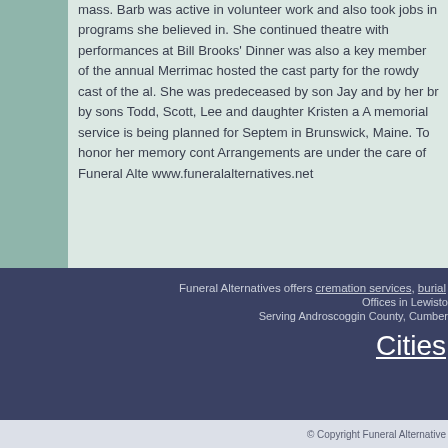mass. Barb was active in volunteer work and also took jobs in programs she believed in. She continued theatre with performances at Bill Brooks' Dinner... was also a key member of the annual Merrimac... hosted the cast party for the rowdy cast of the ab... She was predeceased by son Jay and by her br... by sons Todd, Scott, Lee and daughter Kristen a... A memorial service is being planned for Septem... in Brunswick, Maine. To honor her memory cont... Arrangements are under the care of Funeral Alte... www.funeralalternatives.net
Funeral Alternatives offers cremation services, burial...
Offices in Lewisto...
Serving Androscoggin County, Cumber...
Cities
Join us
© Copyright Funeral Alternative...